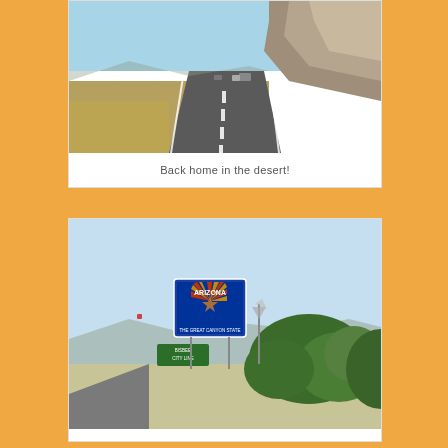[Figure (photo): A desert highway stretching into the distance with rocky cliffs on the right side and sparse desert vegetation on both sides. Clear blue sky with a truck visible in the distance.]
Back home in the desert!
[Figure (photo): An Arizona state welcome sign with the Arizona flag (blue background with a copper star and red/yellow sunrays) beside a road in the desert. Desert shrubs and brush visible on the right, a windmill in the background, mountains in the distance.]